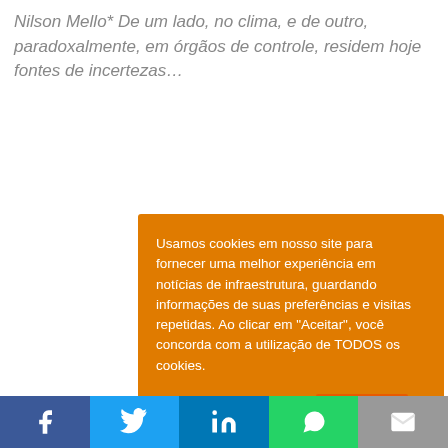Nilson Mello* De um lado, no clima, e de outro, paradoxalmente, em órgãos de controle, residem hoje fontes de incertezas…
Usamos cookies em nosso site para fornecer uma melhor experiência em notícias de infraestrutura, guardando informações de suas preferências e visitas repetidas. Ao clicar em "Aceitar", você concorda com a utilização de TODOS os cookies.
Configurações de cookies   ACEITAR
[Figure (infographic): Social sharing bar with icons for Facebook, Twitter, LinkedIn, WhatsApp, and Email]